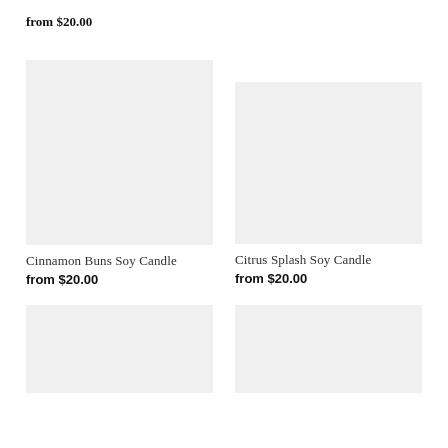from $20.00
[Figure (photo): Product image placeholder for Cinnamon Buns Soy Candle — light gray rectangle]
Cinnamon Buns Soy Candle
from $20.00
[Figure (photo): Product image placeholder for Citrus Splash Soy Candle — light gray rectangle]
Citrus Splash Soy Candle
from $20.00
[Figure (photo): Product image placeholder — light gray rectangle, bottom left]
[Figure (photo): Product image placeholder — light gray rectangle, bottom right]